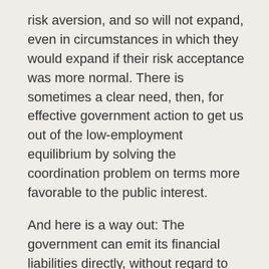risk aversion, and so will not expand, even in circumstances in which they would expand if their risk acceptance was more normal.  There is sometimes a clear need, then, for effective government action to get us out of the low-employment equilibrium by solving the coordination problem on terms more favorable to the public interest.
And here is a way out: The government can emit its financial liabilities directly, without regard to demand in the credit markets, and either distribute those liabilities to people outright, or use them to purchase more goods and services as it expands its own role in the economy as a consumer and investor.  The treasury can issue its securities and, working with the central bank, swap those securities for money at a price profitable to the purchasers.  It can then either issue monetary transfer